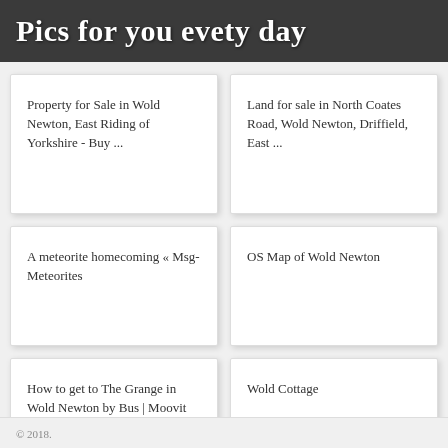Pics for you evety day
Property for Sale in Wold Newton, East Riding of Yorkshire - Buy ...
Land for sale in North Coates Road, Wold Newton, Driffield, East ...
A meteorite homecoming « Msg-Meteorites
OS Map of Wold Newton
How to get to The Grange in Wold Newton by Bus | Moovit
Wold Cottage
© 2018.